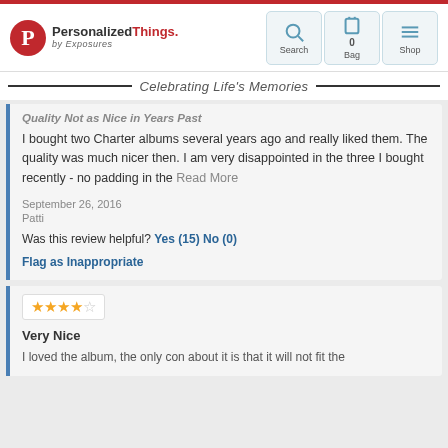[Figure (logo): PersonalizedThings by Exposures logo with red circle P icon]
[Figure (screenshot): Navigation bar with Search, Bag (0), and Shop icons]
Celebrating Life's Memories
Quality Not as Nice in Years Past
I bought two Charter albums several years ago and really liked them. The quality was much nicer then. I am very disappointed in the three I bought recently - no padding in the Read More
September 26, 2016
Patti
Was this review helpful? Yes (15) No (0)
Flag as Inappropriate
[Figure (other): 4 out of 5 stars rating]
Very Nice
I loved the album, the only con about it is that it will not fit the